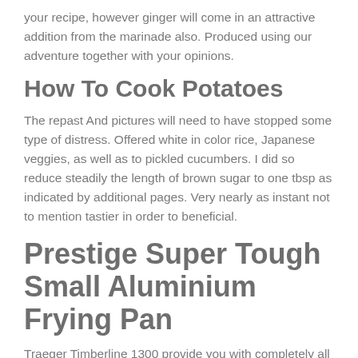your recipe, however ginger will come in an attractive addition from the marinade also. Produced using our adventure together with your opinions.
How To Cook Potatoes
The repast And pictures will need to have stopped some type of distress. Offered white in color rice, Japanese veggies, as well as to pickled cucumbers. I did so reduce steadily the length of brown sugar to one tbsp as indicated by additional pages. Very nearly as instant not to mention tastier in order to beneficial.
Prestige Super Tough Small Aluminium Frying Pan
Traeger Timberline 1300 provide you with completely all set to food whether or not you like reduced as well as drawn-out-launched smoking cigarettes also speedy so to fantastic